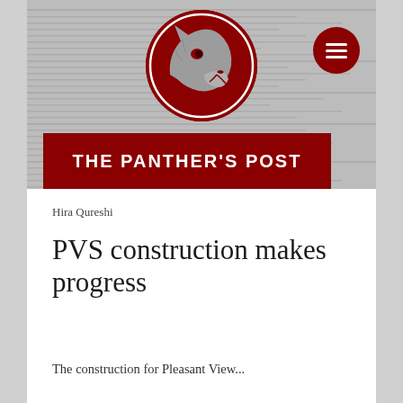[Figure (logo): The Panther's Post newspaper website header with a dark red circular panther mascot logo, a hamburger menu button, and a dark red banner reading 'THE PANTHER'S POST' over a blurred newspaper background.]
Hira Qureshi
PVS construction makes progress
The construction for Pleasant View...